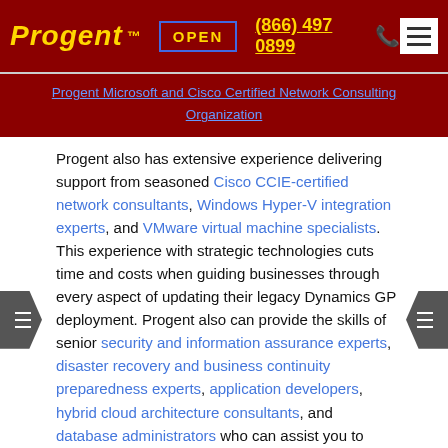Progent TM | OPEN | (866) 497 0899 | [menu]
Progent Microsoft and Cisco Certified Network Consulting Organization
Progent also has extensive experience delivering support from seasoned Cisco CCIE-certified network consultants, Windows Hyper-V integration experts, and VMware virtual machine specialists. This experience with strategic technologies cuts time and costs when guiding businesses through every aspect of updating their legacy Dynamics GP deployment. Progent also can provide the skills of senior security and information assurance experts, disaster recovery and business continuity preparedness experts, application developers, hybrid cloud architecture consultants, and database administrators who can assist you to plan, implement, and maintain a well-tuned Dynamics GP environment.